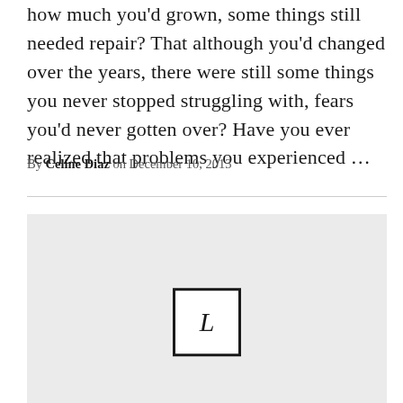how much you'd grown, some things still needed repair? That although you'd changed over the years, there were still some things you never stopped struggling with, fears you'd never gotten over? Have you ever realized that problems you experienced ...
By Celine Diaz on December 10, 2013
[Figure (logo): Light gray placeholder image block with a white box containing the letter L in the center]